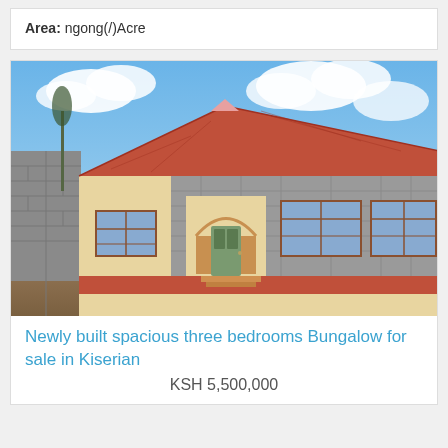Area: ngong(/)Acre
[Figure (photo): Photo of a newly built single-story bungalow with a red tiled roof, cream and stone exterior walls, arched entrance doorway with a green door, multiple windows with burglar bars, and a dirt/gravel driveway in front. A stone wall is visible on the left side. Blue sky with clouds in the background.]
Newly built spacious three bedrooms Bungalow for sale in Kiserian
KSH 5,500,000